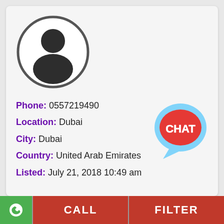[Figure (illustration): Generic user avatar icon: a circle outline with a silhouette of a person (head and shoulders) in dark grey/black]
Phone: 0557219490
Location: Dubai
City: Dubai
Country: United Arab Emirates
Listed: July 21, 2018 10:49 am
[Figure (illustration): CHAT bubble logo: light blue speech bubble with a red ellipse inside containing white text 'CHAT']
[Figure (logo): WhatsApp green logo button on the bottom left]
CALL
FILTER